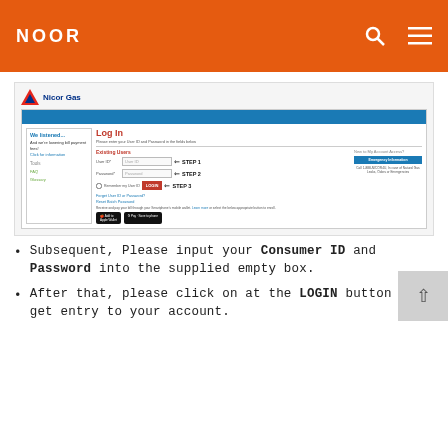NOOR
[Figure (screenshot): Screenshot of Nicor Gas website login page showing User ID and Password fields with STEP 1, STEP 2, STEP 3 arrows pointing to each field and a Login button. Sidebar shows 'We listened...' message about lowering bill payment fees.]
Subsequent, Please input your Consumer ID and Password into the supplied empty box.
After that, please click on at the LOGIN button to get entry to your account.